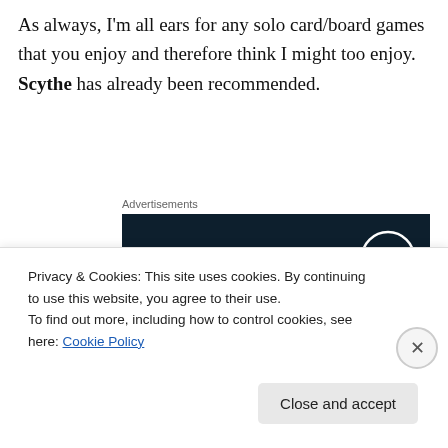As always, I'm all ears for any solo card/board games that you enjoy and therefore think I might too enjoy. Scythe has already been recommended.
Advertisements
[Figure (other): WordPress advertisement banner with dark navy background showing WordPress logo (W in circle) top right, text 'Opinions.' and 'We all have them!' in white serif font.]
Privacy & Cookies: This site uses cookies. By continuing to use this website, you agree to their use.
To find out more, including how to control cookies, see here: Cookie Policy